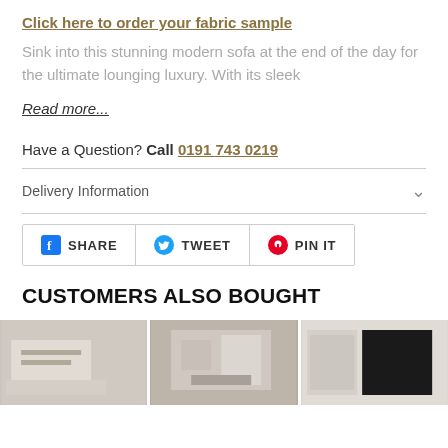Click here to order your fabric sample
Sink into this stunning modern sofa at the end of the day for the ultimate lounging luxury. With its sleek
Read more...
Have a Question? Call 0191 743 0219
Delivery Information
[Figure (infographic): Social sharing buttons: Facebook SHARE, Twitter TWEET, Pinterest PIN IT]
CUSTOMERS ALSO BOUGHT
[Figure (photo): Three product photos shown side by side at bottom of page]